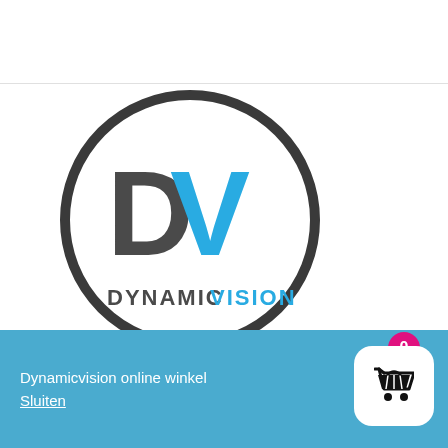[Figure (logo): Dynamic Vision logo: circular border with 'DV' letters (D in dark grey, V in blue gradient) and text 'DYNAMIC VISION' at bottom]
Jonestown free mature Com pussy sex jonestown pennsylvania pa search
Free sex videos
Dynamicvision online winkel
Sluiten